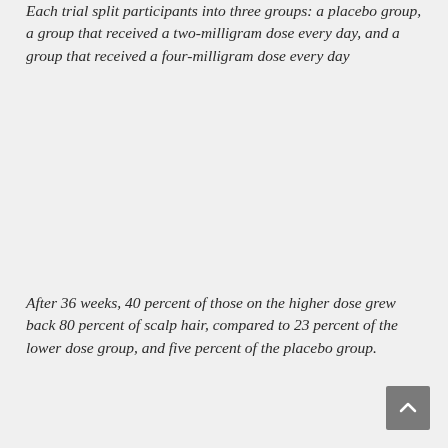Each trial split participants into three groups: a placebo group, a group that received a two-milligram dose every day, and a group that received a four-milligram dose every day
After 36 weeks, 40 percent of those on the higher dose grew back 80 percent of scalp hair, compared to 23 percent of the lower dose group, and five percent of the placebo group.